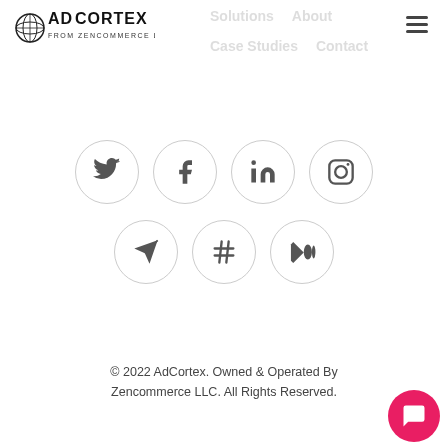AdCortex from Zencommerce LLC — logo and navigation
[Figure (logo): AdCortex from Zencommerce LLC logo with brain-globe icon and text]
[Figure (illustration): Seven social media icon circles: Twitter, Facebook, LinkedIn, Instagram (row 1); Telegram, Hashtag/Slack, Medium (row 2)]
© 2022 AdCortex. Owned & Operated By Zencommerce LLC. All Rights Reserved.